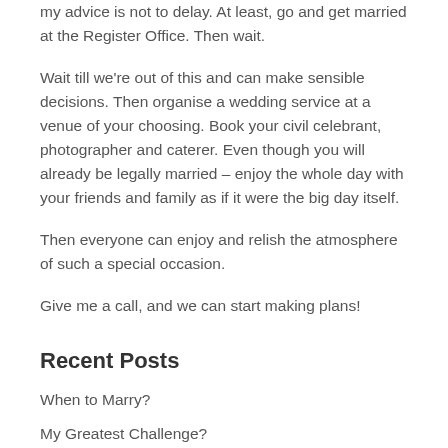my advice is not to delay. At least, go and get married at the Register Office. Then wait.
Wait till we're out of this and can make sensible decisions. Then organise a wedding service at a venue of your choosing. Book your civil celebrant, photographer and caterer. Even though you will already be legally married – enjoy the whole day with your friends and family as if it were the big day itself.
Then everyone can enjoy and relish the atmosphere of such a special occasion.
Give me a call, and we can start making plans!
Recent Posts
When to Marry?
My Greatest Challenge?